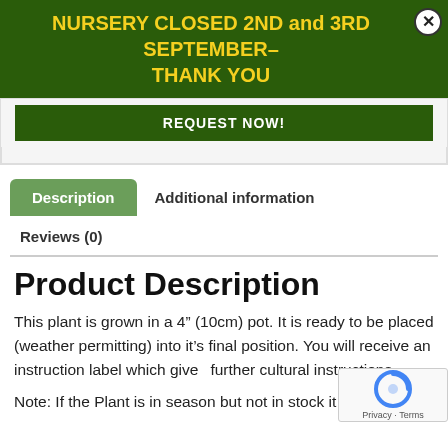NURSERY CLOSED 2ND and 3RD SEPTEMBER– THANK YOU
REQUEST NOW!
Description
Additional information
Reviews (0)
Product Description
This plant is grown in a 4" (10cm) pot. It is ready to be placed (weather permitting) into it's final position. You will receive an instruction label which gives further cultural instructions.
Note: If the Plant is in season but not in stock it may